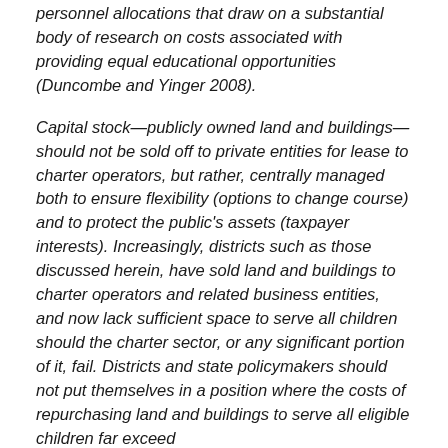personnel allocations that draw on a substantial body of research on costs associated with providing equal educational opportunities (Duncombe and Yinger 2008).
Capital stock—publicly owned land and buildings—should not be sold off to private entities for lease to charter operators, but rather, centrally managed both to ensure flexibility (options to change course) and to protect the public's assets (taxpayer interests). Increasingly, districts such as those discussed herein, have sold land and buildings to charter operators and related business entities, and now lack sufficient space to serve all children should the charter sector, or any significant portion of it, fail. Districts and state policymakers should not put themselves in a position where the costs of repurchasing land and buildings to serve all eligible children far exceed